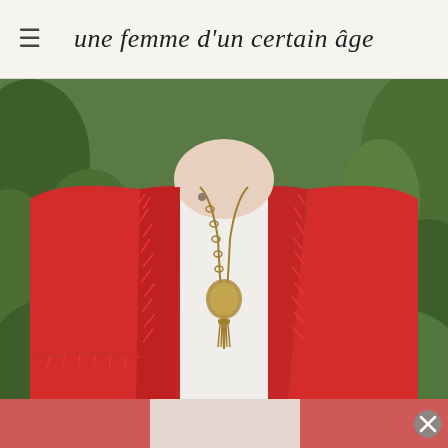une femme d'un certain âge
[Figure (photo): Close-up photo of a woman wearing a red fringe-trimmed boucle jacket over a white top, with a layered gold necklace featuring a decorative pendant and tassel, photographed outdoors with green foliage in the background.]
[Figure (photo): Partially visible lower portion of the same woman, blurred/cropped, with a close button overlay on the right side, suggesting an advertisement or modal overlay.]